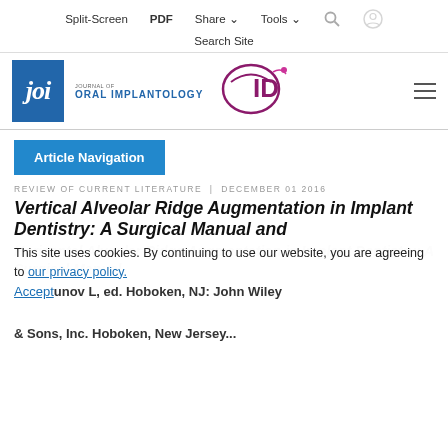Split-Screen  PDF  Share  Tools
Search Site
[Figure (logo): Journal of Oral Implantology (JOI) logo with blue box and AAID logo]
Article Navigation
REVIEW OF CURRENT LITERATURE | DECEMBER 01 2016
Vertical Alveolar Ridge Augmentation in Implant Dentistry: A Surgical Manual and
This site uses cookies. By continuing to use our website, you are agreeing to our privacy policy. Accept
unov L, ed. Hoboken, NJ: John Wiley & Sons, Inc. Hoboken, New Jersey...